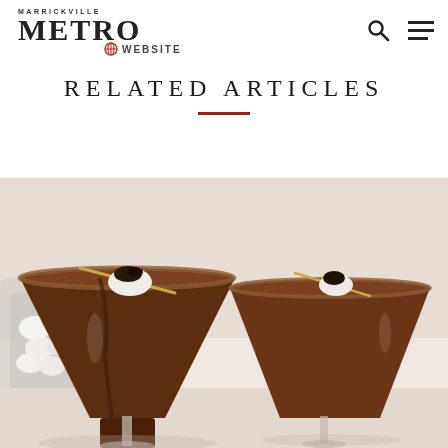MARRICKVILLE METRO WEBSITE
RELATED ARTICLES
[Figure (photo): Chocolate martini cocktails in martini glasses with toasted marshmallow garnish on skewers, chocolate-rimmed glasses, with a jar of marshmallows in the background on a white surface.]